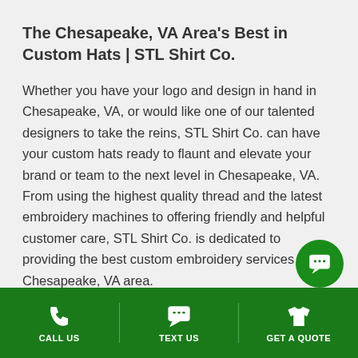The Chesapeake, VA Area's Best in Custom Hats | STL Shirt Co.
Whether you have your logo and design in hand in Chesapeake, VA, or would like one of our talented designers to take the reins, STL Shirt Co. can have your custom hats ready to flaunt and elevate your brand or team to the next level in Chesapeake, VA. From using the highest quality thread and the latest embroidery machines to offering friendly and helpful customer care, STL Shirt Co. is dedicated to providing the best custom embroidery services in the Chesapeake, VA area.
Give us a call today at 636-926-2777 or contact us
CALL US   TEXT US   GET A QUOTE